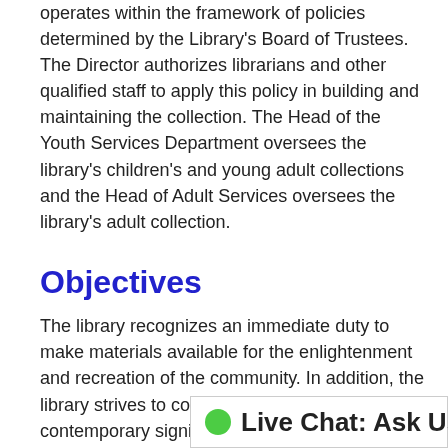operates within the framework of policies determined by the Library's Board of Trustees. The Director authorizes librarians and other qualified staff to apply this policy in building and maintaining the collection. The Head of the Youth Services Department oversees the library's children's and young adult collections and the Head of Adult Services oversees the library's adult collection.
Objectives
The library recognizes an immediate duty to make materials available for the enlightenment and recreation of the community. In addition, the library strives to collect materials of contemporary significance and permanent value that reflect the diversity of our community and the world, and strives to meet the staffing, and budget.